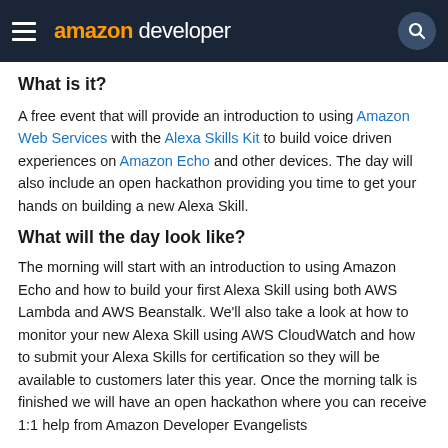amazon developer
What is it?
A free event that will provide an introduction to using Amazon Web Services with the Alexa Skills Kit to build voice driven experiences on Amazon Echo and other devices. The day will also include an open hackathon providing you time to get your hands on building a new Alexa Skill.
What will the day look like?
The morning will start with an introduction to using Amazon Echo and how to build your first Alexa Skill using both AWS Lambda and AWS Beanstalk. We'll also take a look at how to monitor your new Alexa Skill using AWS CloudWatch and how to submit your Alexa Skills for certification so they will be available to customers later this year. Once the morning talk is finished we will have an open hackathon where you can receive 1:1 help from Amazon Developer Evangelists